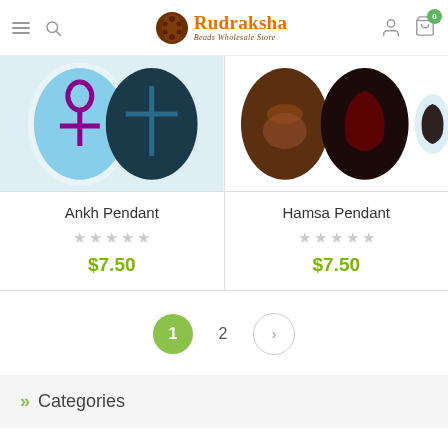Rudraksha Beads Wholesale Store
[Figure (photo): Ankh Pendant product image showing ankh symbol beads in various colors]
Ankh Pendant
★★★★★ (0 stars)
$7.50
[Figure (photo): Hamsa Pendant product image showing hamsa hand beads in various colors]
Hamsa Pendant
★★★★★ (0 stars)
$7.50
1  2  >
Categories